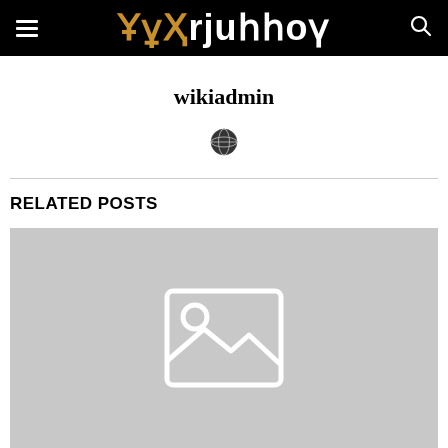wikiadmin [logo/header bar with hamburger menu and search icon]
wikiadmin
[Figure (illustration): Small circular globe/world icon representing the author's website or profile link]
RELATED POSTS
[Figure (photo): Gray placeholder image with a white image placeholder icon (landscape with sun/circle and mountains)]